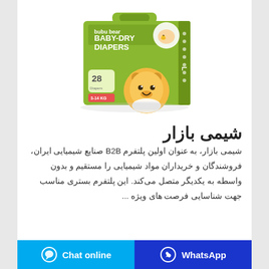[Figure (photo): bubu bear Baby-Dry Diapers product package — green box with cartoon bear, '28 diapers' label, size 3-14]
شیمی بازار
شیمی بازار، به عنوان اولین پلتفرم B2B صنایع شیمیایی ایران، فروشندگان و خریداران مواد شیمیایی را مستقیم و بدون واسطه به یکدیگر متصل می‌کند. این پلتفرم بستری مناسب جهت شناسایی فرصت های ویژه ...
Chat online | WhatsApp